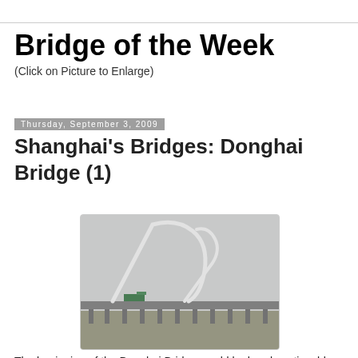Bridge of the Week
(Click on Picture to Enlarge)
Thursday, September 3, 2009
Shanghai's Bridges: Donghai Bridge (1)
[Figure (photo): Photo of the Donghai Bridge approach showing a decorative white arch structure over a long concrete bridge/viaduct. A truck is visible on the bridge. The scene is hazy/foggy. The Donghai Bridge is visible on the right side.]
The beginning of the Donghai Bridge would be barely noticeable except for the decoration placed over its approach (in this photo, the Donghai Bridge is on the right). The bridge was built to carry trucks 32.5 km to the deep water port built